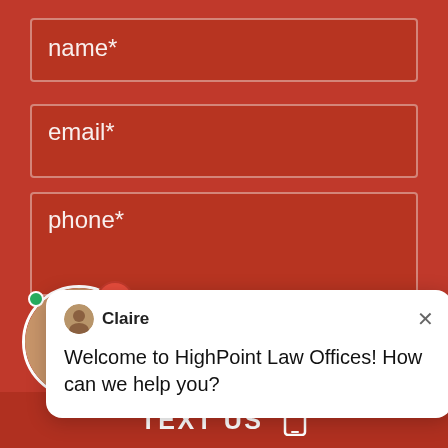name*
email*
phone*
[Figure (screenshot): Chat popup with agent 'Claire' saying 'Welcome to HighPoint Law Offices! How can we help you?' with an X close button]
[Figure (photo): Online Agent avatar photo of a woman with green online indicator dot and red notification badge showing '1']
Online Agent
SUBMIT
TEXT US